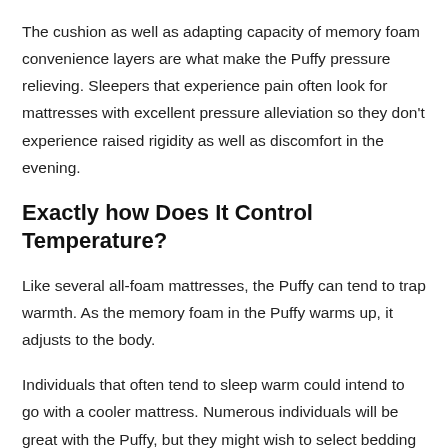The cushion as well as adapting capacity of memory foam convenience layers are what make the Puffy pressure relieving. Sleepers that experience pain often look for mattresses with excellent pressure alleviation so they don't experience raised rigidity as well as discomfort in the evening.
Exactly how Does It Control Temperature?
Like several all-foam mattresses, the Puffy can tend to trap warmth. As the memory foam in the Puffy warms up, it adjusts to the body.
Individuals that often tend to sleep warm could intend to go with a cooler mattress. Numerous individuals will be great with the Puffy, but they might wish to select bedding that